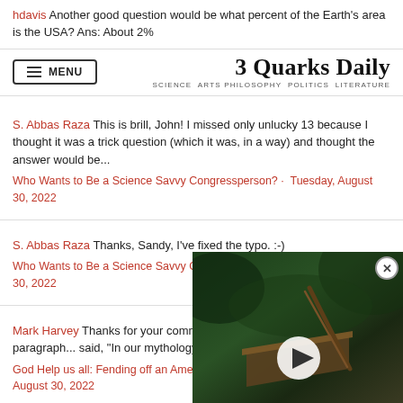hdavis Another good question would be what percent of the Earth's area is the USA? Ans: About 2%
3 Quarks Daily — SCIENCE ARTS PHILOSOPHY POLITICS LITERATURE
S. Abbas Raza This is brill, John! I missed only unlucky 13 because I thought it was a trick question (which it was, in a way) and thought the answer would be...
Who Wants to Be a Science Savvy Congressperson? · Tuesday, August 30, 2022
S. Abbas Raza Thanks, Sandy, I've fixed the typo. :-)
Who Wants to Be a Science Savvy Congressperson? · Tuesday, August 30, 2022
Mark Harvey Thanks for your comme... have missed in a previous paragraph... said, "In our mythology, those...
God Help us all: Fending off an Amer... August 30, 2022
[Figure (screenshot): Video overlay showing a thatched hut in a forest, with a play button and close (X) button]